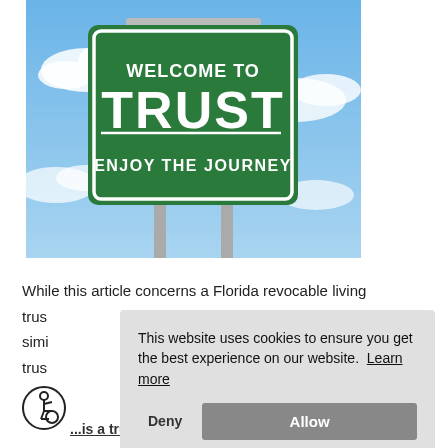[Figure (photo): A green highway-style road sign reading 'WELCOME TO TRUST ENJOY THE JOURNEY' against a blue sky with clouds]
While this article concerns a Florida revocable living trus... simi... trus...
[Figure (screenshot): Cookie consent popup overlay reading 'This website uses cookies to ensure you get the best experience on our website. Learn more' with Deny and Allow buttons]
[Figure (illustration): Accessibility icon (person in wheelchair symbol in a circle)]
...is a trust, and then what does living and...